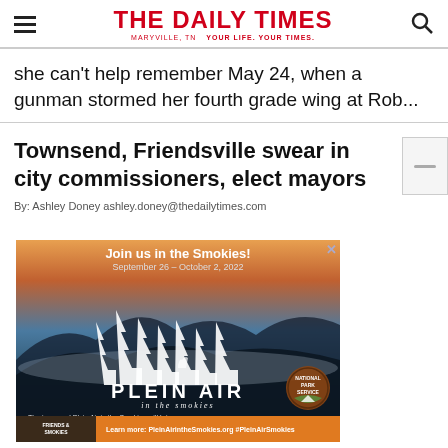THE DAILY TIMES — YOUR LIFE. YOUR TIMES.
she can't help remember May 24, when a gunman stormed her fourth grade wing at Rob...
Townsend, Friendsville swear in city commissioners, elect mayors
By: Ashley Doney ashley.doney@thedailytimes.com
[Figure (illustration): Advertisement for Plein Air in the Smokies event, September 26 - October 2, 2022. Features a mountain landscape with trees silhouette, PLEIN AIR logo, National Park Service badge, and Friends of the Smokies logo. Text reads: The inaugural Plein Air in the Smokies will bring 20 nationally-acclaimed artists to the national park to capture the beauty and magic of the Smokies. The competition & art sale benefits Great Smoky Mountains National Park. Learn more: PleinAirintheSmokies.org #PleinAirSmokies]